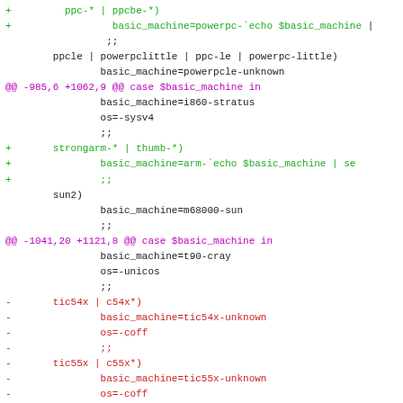[Figure (screenshot): A code diff view showing added and removed lines in a shell script, with green lines for additions (+), red lines for removals (-), and magenta hunk headers (@@).]